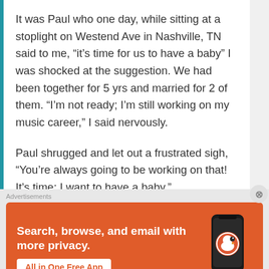It was Paul who one day, while sitting at a stoplight on Westend Ave in Nashville, TN said to me, “it’s time for us to have a baby” I was shocked at the suggestion. We had been together for 5 yrs and married for 2 of them. “I’m not ready; I’m still working on my music career,” I said nervously.
Paul shrugged and let out a frustrated sigh, “You’re always going to be working on that! It’s time; I want to have a baby.”
Begrudgingly I said ok and started processing the idea
Advertisements
[Figure (infographic): DuckDuckGo advertisement banner with orange background showing text: Search, browse, and email with more privacy. All in One Free App. DuckDuckGo logo on the right with phone mockup.]